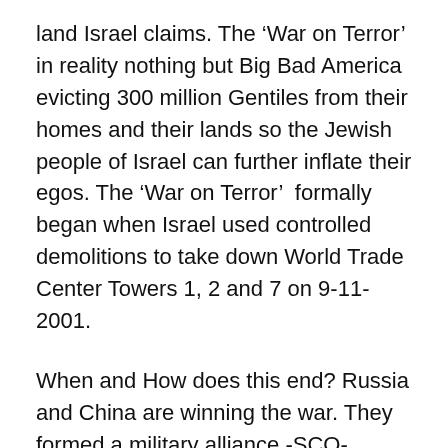land Israel claims. The ‘War on Terror’ in reality nothing but Big Bad America evicting 300 million Gentiles from their homes and their lands so the Jewish people of Israel can further inflate their egos. The ‘War on Terror’  formally began when Israel used controlled demolitions to take down World Trade Center Towers 1, 2 and 7 on 9-11-2001.
When and How does this end? Russia and China are winning the war. They formed a military alliance -SCO- Shanghai Cooperation Organization. It includes amongst others Russia, China, Pakistan and Iran. They have much faster missiles and a lot more manpower than NATO. They have also formed the BRICS economic alliance which includes Brazil, Russia, India, China and South Africa. BRICS has formed counterparts to the IMF and the World